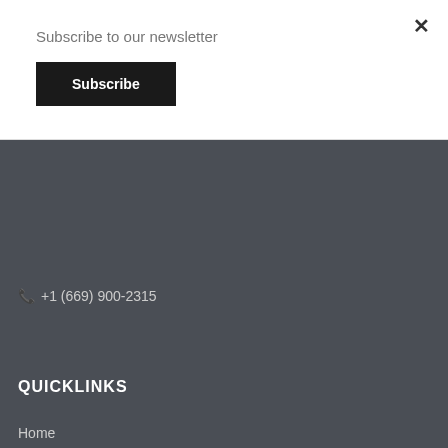Subscribe to our newsletter
Subscribe
×
+1 (669) 900-2315
QUICKLINKS
Home
Our Approach
Dr. Anupma Sethi
Contact Us